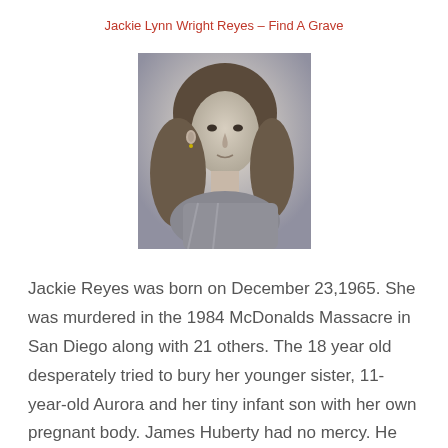Jackie Lynn Wright Reyes – Find A Grave
[Figure (photo): Black and white portrait photograph of a young woman with long wavy hair, facing slightly to the side.]
Jackie Reyes was born on December 23,1965. She was murdered in the 1984 McDonalds Massacre in San Diego along with 21 others. The 18 year old desperately tried to bury her younger sister, 11-year-old Aurora and her tiny infant son with her own pregnant body. James Huberty had no mercy. He riddled her with 48 bullets before moving his